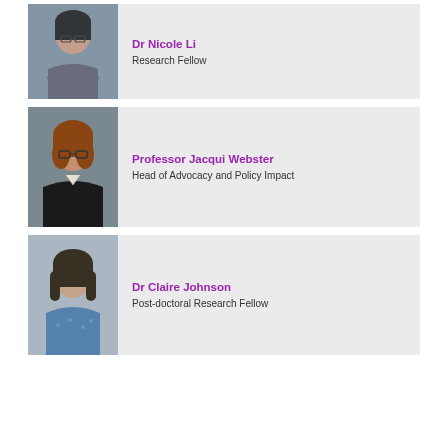[Figure (photo): Headshot of Dr Nicole Li, woman with glasses and dark hair wearing a patterned top, arms crossed]
Dr Nicole Li
Research Fellow
[Figure (photo): Headshot of Professor Jacqui Webster, woman with short reddish-brown hair and glasses wearing a dark jacket]
Professor Jacqui Webster
Head of Advocacy and Policy Impact
[Figure (photo): Headshot of Dr Claire Johnson, woman with dark shoulder-length hair wearing a blue patterned top]
Dr Claire Johnson
Post-doctoral Research Fellow